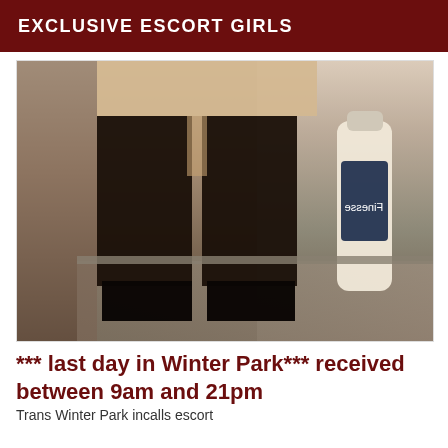EXCLUSIVE ESCORT GIRLS
[Figure (photo): Photo showing lower body of person wearing black thigh-high stockings and heels, standing near a counter with a lotion bottle visible on the right side.]
*** last day in Winter Park*** received between 9am and 21pm
Trans Winter Park incalls escort